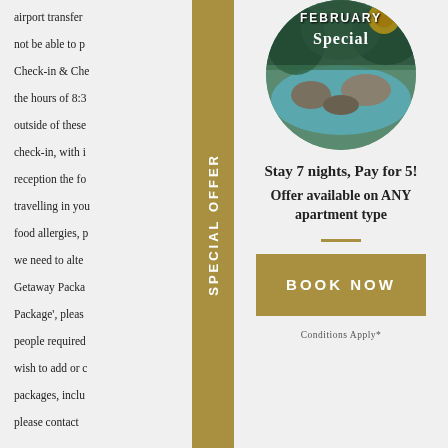airport transfer ... not be able to p... Check-in & Che... the hours of 8:3... outside of these... check-in, with i... reception the fo... travelling in you... food allergies, p... we need to alte... Getaway Packa... Package', plea... people require... wish to add or... packages, incl... please contact...
[Figure (photo): Circular image of a tropical resort pool area with rocks and greenery, overlaid with text 'FEBRUARY SPECIAL' at the top]
Stay 7 nights, Pay for 5!
Offer available on ANY apartment type
BOOK NOW
Conditions Apply*
SPECIAL OFFER